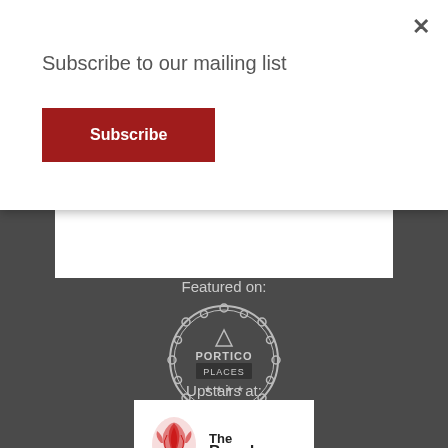Subscribe to our mailing list
Subscribe
×
Featured on:
[Figure (logo): Portico Places badge/seal logo — circular stamp design with text PORTICO PLACES and stars at bottom]
Upstairs at:
[Figure (logo): The Bread & Roses logo — red illustrated rose on left with text 'The Bread & Roses' on right]
Listed on: